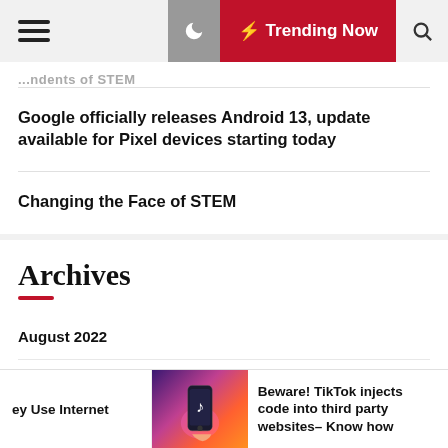Trending Now
...ndents of STEM
Google officially releases Android 13, update available for Pixel devices starting today
Changing the Face of STEM
Archives
August 2022
July 2022
June 2021
ey Use Internet
Beware! TikTok injects code into third party websites– Know how